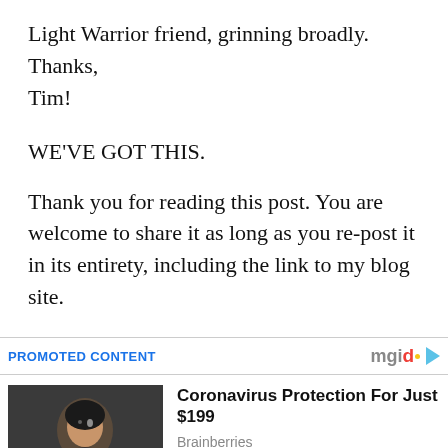Light Warrior friend, grinning broadly. Thanks, Tim!
WE'VE GOT THIS.
Thank you for reading this post. You are welcome to share it as long as you re-post it in its entirety, including the link to my blog site.
PROMOTED CONTENT
[Figure (photo): Photo of a woman with dark hair and hoodie, used as thumbnail for promoted content ad]
Coronavirus Protection For Just $199
Brainberries
[Figure (photo): Photo of people, used as thumbnail for second promoted content ad]
Top 10 TV Friends Who